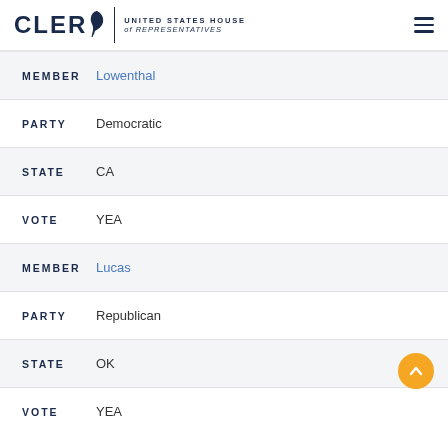CLERK | UNITED STATES HOUSE of REPRESENTATIVES
MEMBER Lowenthal
PARTY Democratic
STATE CA
VOTE YEA
MEMBER Lucas
PARTY Republican
STATE OK
VOTE YEA